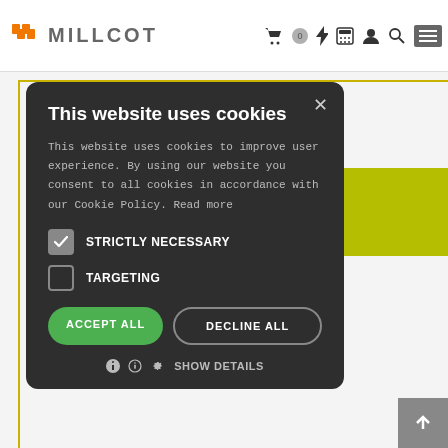MILLCOT — navigation header with cart, lightning, calculator, user, search, and menu icons
Stock Code: FORRCC911B
[Figure (screenshot): Cookie consent modal dialog with title 'This website uses cookies', body text about cookie policy, STRICTLY NECESSARY checked checkbox, TARGETING unchecked checkbox, ACCEPT ALL and DECLINE ALL buttons, and SHOW DETAILS link]
This website uses cookies
This website uses cookies to improve user experience. By using our website you consent to all cookies in accordance with our Cookie Policy. Read more
STRICTLY NECESSARY
TARGETING
ACCEPT ALL
DECLINE ALL
SHOW DETAILS